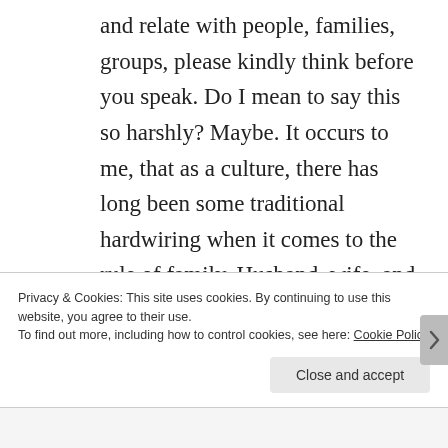and relate with people, families, groups, please kindly think before you speak. Do I mean to say this so harshly? Maybe. It occurs to me, that as a culture, there has long been some traditional hardwiring when it comes to the rule of family. Husband, wife, and 2.3 kids have long been the accepted norm. Over time, many of you have even
Privacy & Cookies: This site uses cookies. By continuing to use this website, you agree to their use.
To find out more, including how to control cookies, see here: Cookie Policy
Close and accept